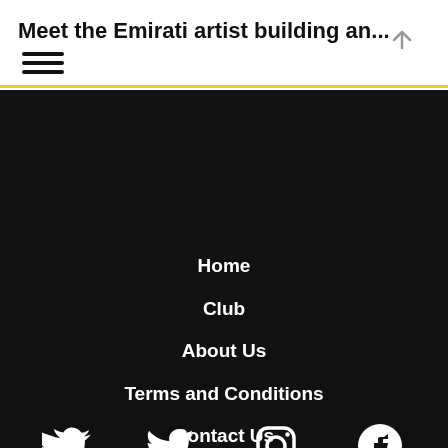Meet the Emirati artist building an...
Home
Club
About Us
Terms and Conditions
Contact Us
[Figure (illustration): Social media icons: Twitter bird, Instagram camera, Facebook f — white on black background]